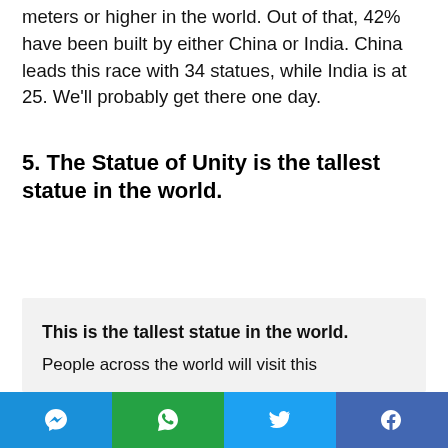meters or higher in the world. Out of that, 42% have been built by either China or India. China leads this race with 34 statues, while India is at 25. We'll probably get there one day.
5. The Statue of Unity is the tallest statue in the world.
This is the tallest statue in the world.
People across the world will visit this
Social share bar: Messenger, WhatsApp, Twitter, Facebook